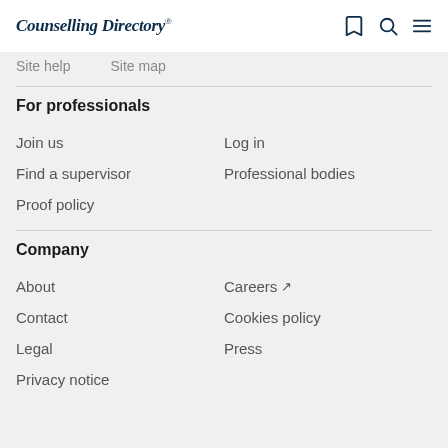Counselling Directory
Site help   Site map
For professionals
Join us
Log in
Find a supervisor
Professional bodies
Proof policy
Company
About
Careers
Contact
Cookies policy
Legal
Press
Privacy notice